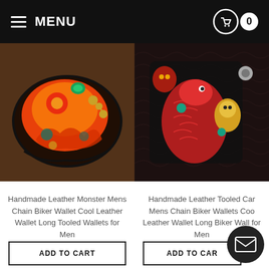MENU | Cart 0
[Figure (photo): Handmade colorful leather wallet with monster/deity design, gold chain accents, photographed on dark wooden surface]
Handmade Leather Monster Mens Chain Biker Wallet Cool Leather Wallet Long Tooled Wallets for Men
$269.00
[Figure (photo): Handmade tooled leather wallet with koi/carp fish design in red and yellow, with metal accessories, on dark quilted background]
Handmade Leather Tooled Car Mens Chain Biker Wallets Coo Leather Wallet Long Biker Wall for Men
$259.00
ADD TO CART
ADD TO CAR